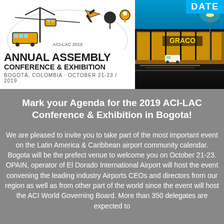[Figure (illustration): ACI-LAC Annual Assembly Conference & Exhibition logo with transportation illustrations (bus, cable car, plane) in yellow/dark color scheme]
ANNUAL ASSEMBLY
CONFERENCE & EXHIBITION
BOGOTÁ, COLOMBIA - OCTOBER 21-23 / 2019
[Figure (photo): Night photo of El Dorado International Airport in Bogota, Colombia with yellow lights and blue sky. DATE label in top right corner.]
Mark your Agenda for the 2019 ACI-LAC Conference & Exhibition in Bogota!
We are pleased to invite you to take part of the most important event on the Latin America & Caribbean airport community calendar. Bogota will be the prefect venue to welcome you on October 21-23. OPAIN, operator of El Dorado International Airport will host the event convening the leading industry Airports CEOs and directors from our region as well as from other part of the world since the event will host the ACI World Governing Board. More than 350 delegates are expected to